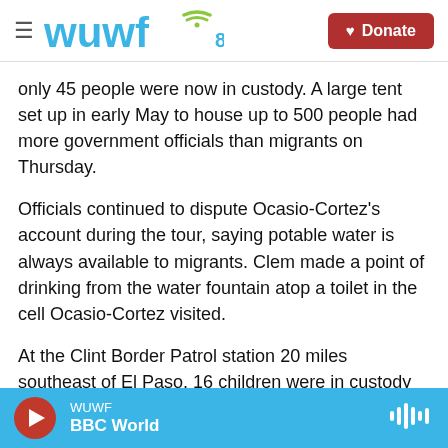WUWF 88.1 — Donate
only 45 people were now in custody. A large tent set up in early May to house up to 500 people had more government officials than migrants on Thursday.
Officials continued to dispute Ocasio-Cortez's account during the tour, saying potable water is always available to migrants. Clem made a point of drinking from the water fountain atop a toilet in the cell Ocasio-Cortez visited.
At the Clint Border Patrol station 20 miles southeast of El Paso, 16 children were in custody
WUWF — BBC World